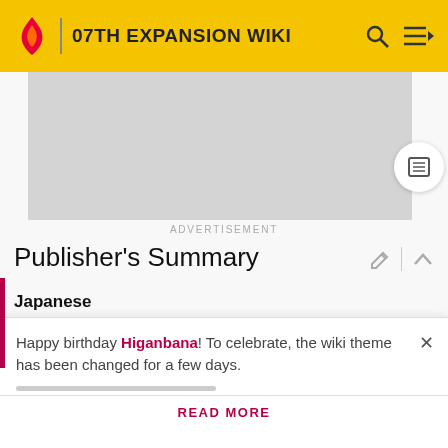07TH EXPANSION WIKI
[Figure (other): Gray advertisement placeholder rectangle]
ADVERTISEMENT
Publisher's Summary
Japanese
□□□□□□  □□□□□□  □□□□□□□□□□□□□□□□□□□□□□□□□□□□□□□□□□□□□□□□□□□□ □□□□□□  ...  □□□□□□□□□□□□  ————...
English
Happy birthday Higanbana! To celebrate, the wiki theme has been changed for a few days.
READ MORE